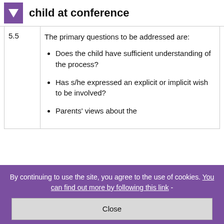child at conference
| 5.5 | The primary questions to be addressed are:
• Does the child have sufficient understanding of the process?
• Has s/he expressed an explicit or implicit wish to be involved?
• Parents' views about the |
By continuing to use the site, you agree to the use of cookies. You can find out more by following this link -
Close